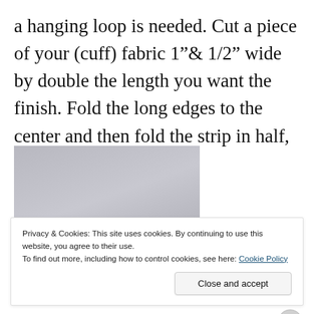a hanging loop is needed. Cut a piece of your (cuff) fabric 1”& 1/2” wide by double the length you want the finish. Fold the long edges to the center and then fold the strip in half, top stitching each edge.
[Figure (photo): Close-up photo of red floral fabric with poinsettia pattern on a gray surface, showing the edge of the fabric strip.]
Privacy & Cookies: This site uses cookies. By continuing to use this website, you agree to their use.
To find out more, including how to control cookies, see here: Cookie Policy
Close and accept